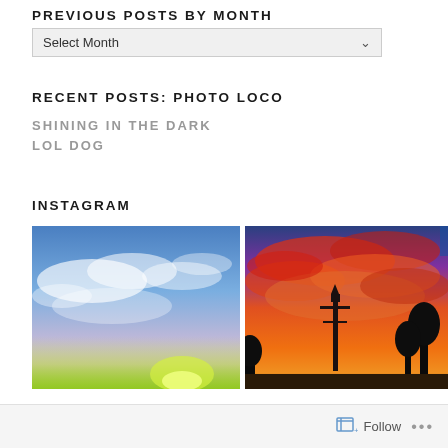PREVIOUS POSTS BY MONTH
Select Month
RECENT POSTS: PHOTO LOCO
SHINING IN THE DARK
LOL DOG
INSTAGRAM
[Figure (photo): Two Instagram photos side by side: left shows blue sky with white clouds and green glow at bottom; right shows dramatic orange and red sunset sky with silhouetted tower and trees]
Follow ...